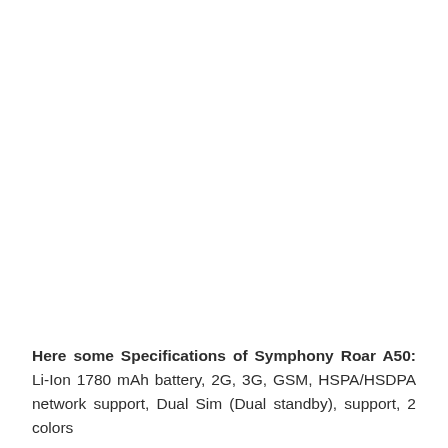Here some Specifications of Symphony Roar A50: Li-Ion 1780 mAh battery, 2G, 3G, GSM, HSPA/HSDPA network support, Dual Sim (Dual standby), support, 2 colors